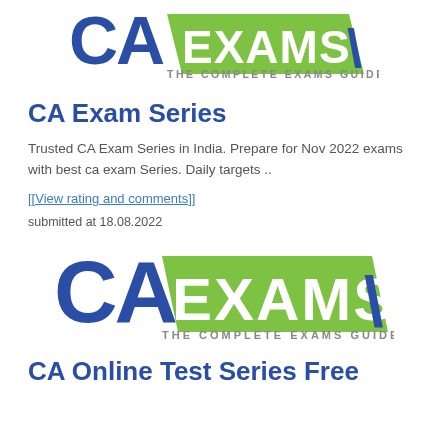[Figure (logo): CA Exams logo - 'CA' in dark blue large letters beside green parallelogram banner reading 'EXAMS' in white, with tagline 'THE COMPLETE EXAMS GUIDE' in grey below]
CA Exam Series
Trusted CA Exam Series in India. Prepare for Nov 2022 exams with best ca exam Series. Daily targets ..
[[View rating and comments]]
submitted at 18.08.2022
[Figure (logo): CA Exams logo larger - 'CA' in dark blue large letters beside green parallelogram banner reading 'EXAMS' in white, with tagline 'THE COMPLETE EXAMS GUIDE' in grey below]
CA Online Test Series Free